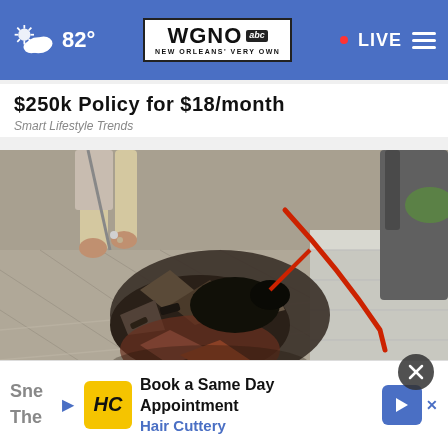82° | WGNO ABC New Orleans' Very Own | LIVE
$250k Policy for $18/month
Smart Lifestyle Trends
[Figure (photo): Person walking a dog on a leash on a brick/concrete sidewalk, viewed from above at an angle. Debris and rubble visible on the ground. Red leash visible.]
Sne
The
[Figure (infographic): Hair Cuttery advertisement banner: Book a Same Day Appointment - Hair Cuttery, with HC logo and directional arrow icon]